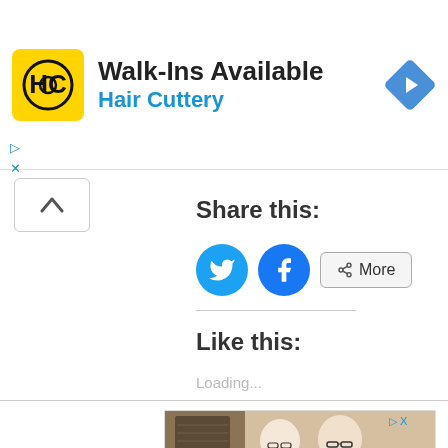[Figure (screenshot): Hair Cuttery advertisement banner with yellow logo, 'Walk-Ins Available' heading, 'Hair Cuttery' brand name in blue, and a blue diamond navigation arrow icon on the right.]
Share this:
[Figure (infographic): Twitter bird icon circle button (blue), Facebook 'f' icon circle button (blue), and a 'More' share button with share icon.]
Like this:
Loading...
[Figure (photo): Two elderly people smiling and laughing, one woman with glasses and one man in a blue shirt with glasses, partial image at bottom of page.]